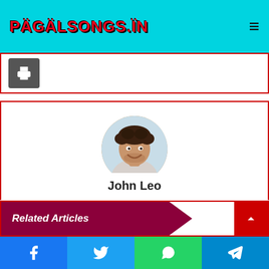PÄGÄLSONGS.ÏN
[Figure (other): Print button icon (printer symbol) on dark gray background]
[Figure (photo): Circular avatar photo of a young smiling man with curly dark hair and beard, wearing a light gray shirt]
John Leo
Related Articles
[Figure (other): Facebook, Twitter, WhatsApp, Telegram social share buttons in a bottom bar]